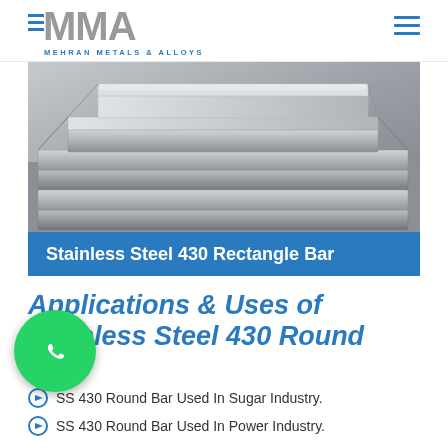MMA MEHRAN METALS & ALLOYS
[Figure (photo): Stainless steel rectangular/flat bars stacked together, metallic grey color]
Stainless Steel 430 Rectangle Bar
Applications & Uses of Stainless Steel 430 Round Bars
[Figure (other): WhatsApp contact button - green circle with phone handset icon]
SS 430 Round Bar Used In Sugar Industry.
SS 430 Round Bar Used In Power Industry.